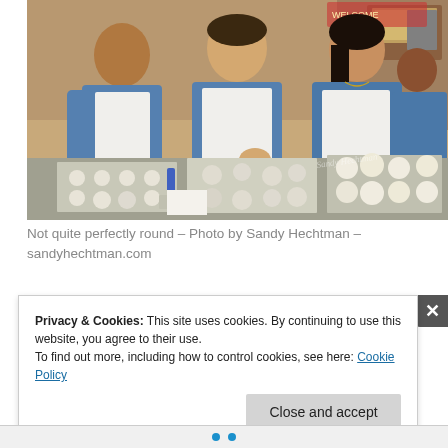[Figure (photo): Workers in blue shirts and white aprons rolling dough balls on metal baking trays in a bakery kitchen. Three workers are visible in the foreground, with a fourth in the background near a cash register.]
Not quite perfectly round – Photo by Sandy Hechtman – sandyhechtman.com
Privacy & Cookies: This site uses cookies. By continuing to use this website, you agree to their use.
To find out more, including how to control cookies, see here: Cookie Policy